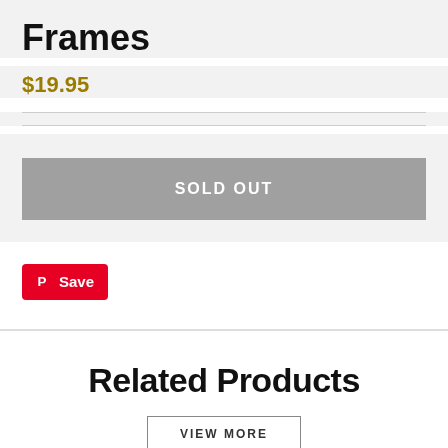Frames
$19.95
SOLD OUT
[Figure (logo): Pinterest Save button with P icon in red background]
Related Products
VIEW MORE